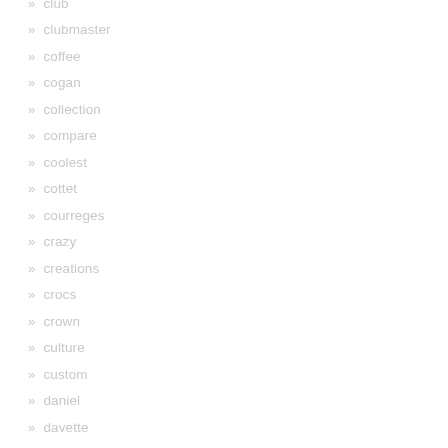club
clubmaster
coffee
cogan
collection
compare
coolest
cottet
courreges
crazy
creations
crocs
crown
culture
custom
daniel
davette
david